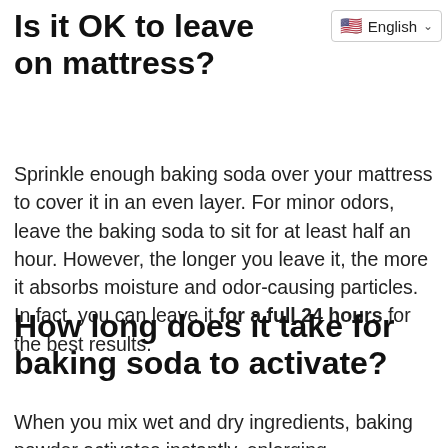Is it OK to leave baking soda on mattress?
Sprinkle enough baking soda over your mattress to cover it in an even layer. For minor odors, leave the baking soda to sit for at least half an hour. However, the longer you leave it, the more it absorbs moisture and odor-causing particles. In fact, you can leave it for a full 24 hours for the best results.
How long does it take for baking soda to activate?
When you mix wet and dry ingredients, baking powder activates instantly, enlarging